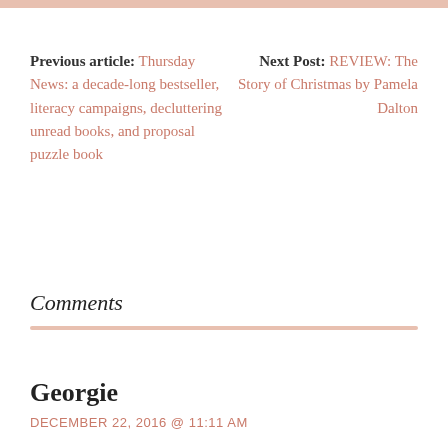Previous article: Thursday News: a decade-long bestseller, literacy campaigns, decluttering unread books, and proposal puzzle book
Next Post: REVIEW: The Story of Christmas by Pamela Dalton
Comments
Georgie
DECEMBER 22, 2016 @ 11:11 AM